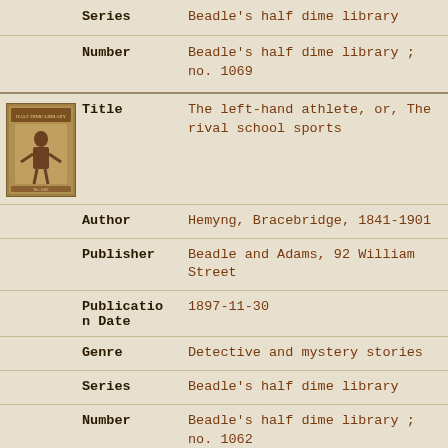| Field | Value |
| --- | --- |
| Series | Beadle's half dime library |
| Number | Beadle's half dime library ; no. 1069 |
| Title | The left-hand athlete, or, The rival school sports |
| Author | Hemyng, Bracebridge, 1841-1901 |
| Publisher | Beadle and Adams, 92 William Street |
| Publication Date | 1897-11-30 |
| Genre | Detective and mystery stories |
| Series | Beadle's half dime library |
| Number | Beadle's half dime library ; no. 1062 |
| Title | Jack Harkaway in New York, or |